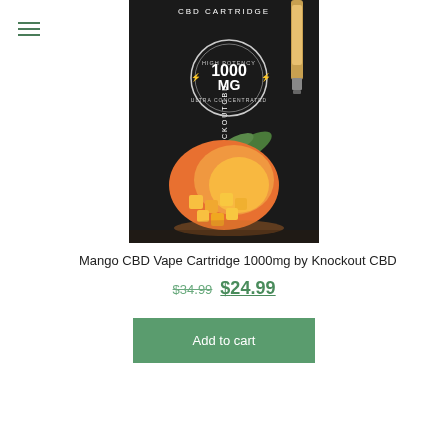[Figure (photo): Product photo of Mango CBD Vape Cartridge 1000mg by Knockout CBD — black packaging with mango fruit imagery and a circular badge reading 1000 MG HIGH POTENCY ULTRA CONCENTRATED]
Mango CBD Vape Cartridge 1000mg by Knockout CBD
$34.99 $24.99
Add to cart